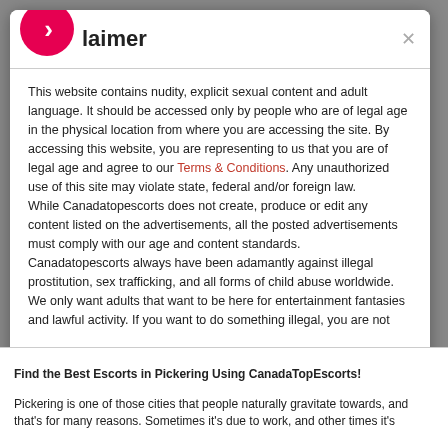Disclaimer
This website contains nudity, explicit sexual content and adult language. It should be accessed only by people who are of legal age in the physical location from where you are accessing the site. By accessing this website, you are representing to us that you are of legal age and agree to our Terms & Conditions. Any unauthorized use of this site may violate state, federal and/or foreign law.
While Canadatopescorts does not create, produce or edit any content listed on the advertisements, all the posted advertisements must comply with our age and content standards.
Canadatopescorts always have been adamantly against illegal prostitution, sex trafficking, and all forms of child abuse worldwide. We only want adults that want to be here for entertainment fantasies and lawful activity. If you want to do something illegal, you are not welcome here.
Find the Best Escorts in Pickering Using CanadaTopEscorts!
Pickering is one of those cities that people naturally gravitate towards, and that's for many reasons. Sometimes it's due to work, and other times it's